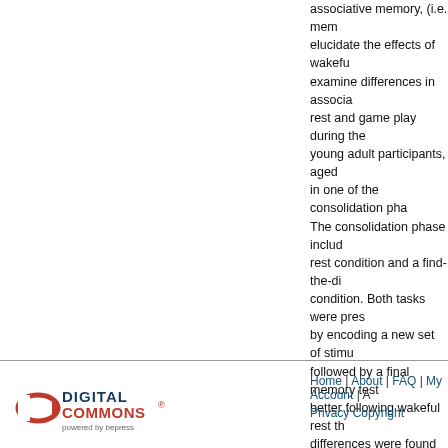associative memory, (i.e. mem... elucidate the effects of wakeful rest and game play during the... young adult participants, aged... in one of the consolidation pha... The consolidation phase includ... rest condition and a find-the-di... condition. Both tasks were pres... by encoding a new set of stimu... followed by a final memory tes... better following wakeful rest th... differences were found betwee... clarify the relationship between...
Recommended Citation
Carlson, Chalise, "Associative Me... Technological Distraction" (2018). DOI: https://doi.org/10.31979/etd... https://scholarworks.sjsu.edu/etd_
DOI
https://doi.org/10.31979/etd.28
Home | About | FAQ | My Account | A... Privacy Copyright